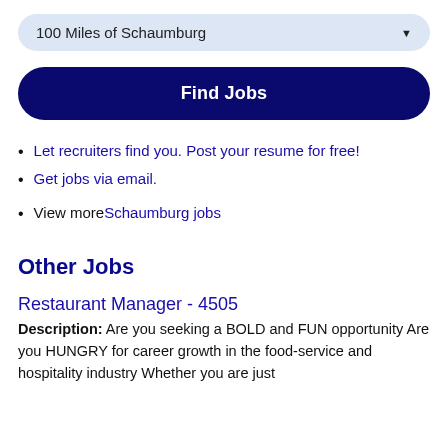100 Miles of Schaumburg
Find Jobs
Let recruiters find you. Post your resume for free!
Get jobs via email.
View more Schaumburg jobs
Other Jobs
Restaurant Manager - 4505
Description: Are you seeking a BOLD and FUN opportunity Are you HUNGRY for career growth in the food-service and hospitality industry Whether you are just